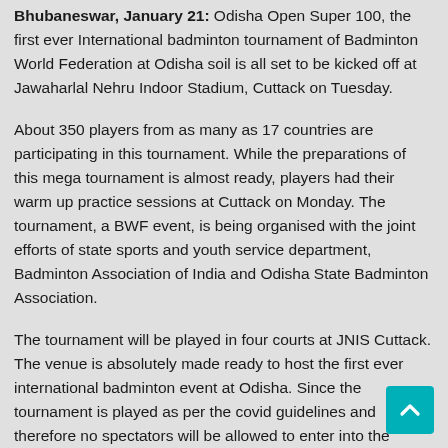Bhubaneswar, January 21: Odisha Open Super 100, the first ever International badminton tournament of Badminton World Federation at Odisha soil is all set to be kicked off at Jawaharlal Nehru Indoor Stadium, Cuttack on Tuesday.
About 350 players from as many as 17 countries are participating in this tournament. While the preparations of this mega tournament is almost ready, players had their warm up practice sessions at Cuttack on Monday. The tournament, a BWF event, is being organised with the joint efforts of state sports and youth service department, Badminton Association of India and Odisha State Badminton Association.
The tournament will be played in four courts at JNIS Cuttack. The venue is absolutely made ready to host the first ever international badminton event at Odisha. Since the tournament is played as per the covid guidelines and therefore no spectators will be allowed to enter into the stadium. Covid tests of all players, technical officials, volunteers have been conducted, after their arrival at Bhubaneswar and only those found negative will be allowed to enter into stadium